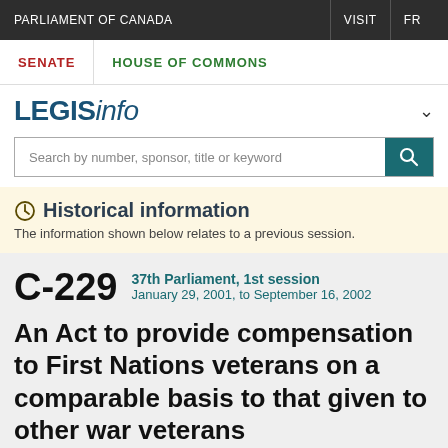PARLIAMENT OF CANADA | VISIT | FR
SENATE | HOUSE OF COMMONS
LEGISinfo
Search by number, sponsor, title or keyword
Historical information
The information shown below relates to a previous session.
C-229 37th Parliament, 1st session January 29, 2001, to September 16, 2002
An Act to provide compensation to First Nations veterans on a comparable basis to that given to other war veterans